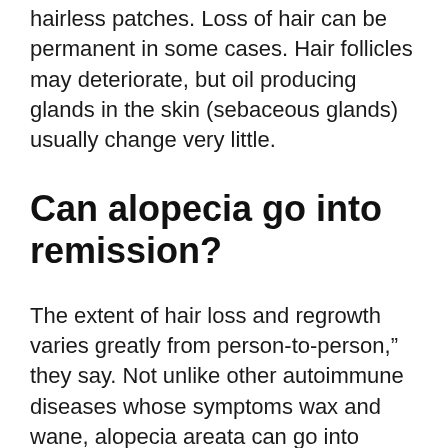hairless patches. Loss of hair can be permanent in some cases. Hair follicles may deteriorate, but oil producing glands in the skin (sebaceous glands) usually change very little.
Can alopecia go into remission?
The extent of hair loss and regrowth varies greatly from person-to-person,” they say. Not unlike other autoimmune diseases whose symptoms wax and wane, alopecia areata can go into remission for years at a time. The American Academy of Dermatology says that “alopecia is not contagious.